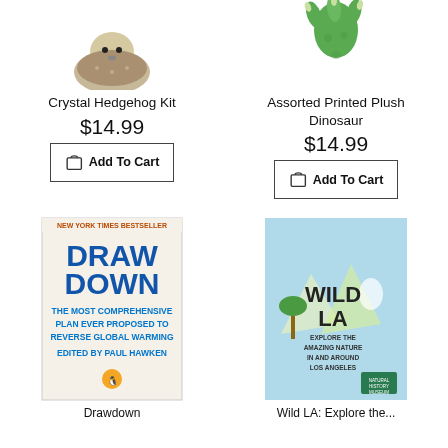[Figure (photo): Crystal Hedgehog Kit product photo - top cropped]
Crystal Hedgehog Kit
$14.99
Add To Cart
[Figure (photo): Assorted Printed Plush Dinosaur product photo - top cropped]
Assorted Printed Plush Dinosaur
$14.99
Add To Cart
[Figure (photo): Drawdown book cover - New York Times Bestseller, The Most Comprehensive Plan Ever Proposed to Reverse Global Warming, Edited by Paul Hawken]
Drawdown
[Figure (photo): Wild LA book cover - Explore the Amazing Nature in and Around Los Angeles, Natural History Museum]
Wild LA: Explore the...